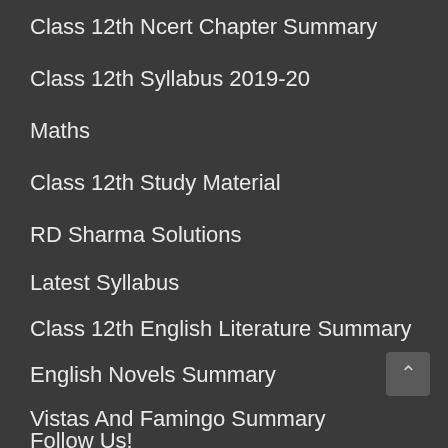Class 12th Ncert Chapter Summary
Class 12th Syllabus 2019-20
Maths
Class 12th Study Material
RD Sharma Solutions
Latest Syllabus
Class 12th English Literature Summary
English Novels Summary
Vistas And Famingo Summary
Follow Us!